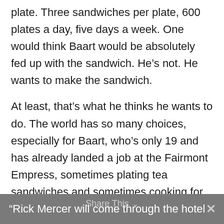plate. Three sandwiches per plate, 600 plates a day, five days a week. One would think Baart would be absolutely fed up with the sandwich. He's not. He wants to make the sandwich.
At least, that's what he thinks he wants to do. The world has so many choices, especially for Baart, who's only 19 and has already landed a job at the Fairmont Empress, sometimes plating tea sandwiches and sometimes cooking for the well-known.
“Rick Mercer will come through the hotel